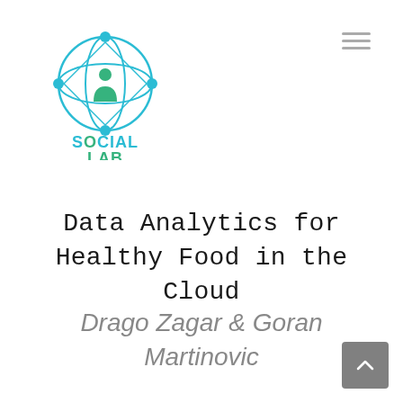[Figure (logo): Social Lab logo: a globe with network nodes connected by lines in cyan/teal, with a green person icon below. Text reads SOCIAL LAB in teal/green colors.]
Data Analytics for Healthy Food in the Cloud
Drago Zagar & Goran Martinovic